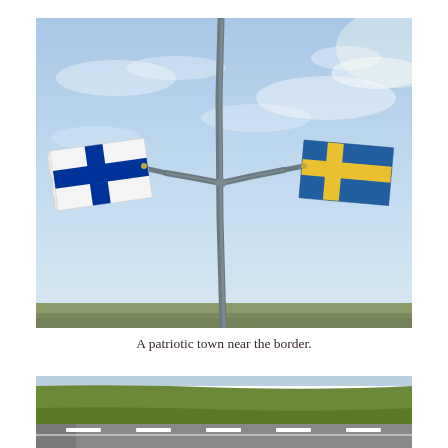[Figure (photo): A tall metal pole with two flag brackets, one on each side. The left bracket holds the Finnish flag (white with blue Nordic cross) and the right holds the Swedish flag (blue with yellow Nordic cross). The background is a blue sky with light clouds.]
A patriotic town near the border.
[Figure (photo): A road with white dashed lane markings, a grass roadside verge visible, and a green grassy hillside in the background. Partial view of a highway scene near a border.]